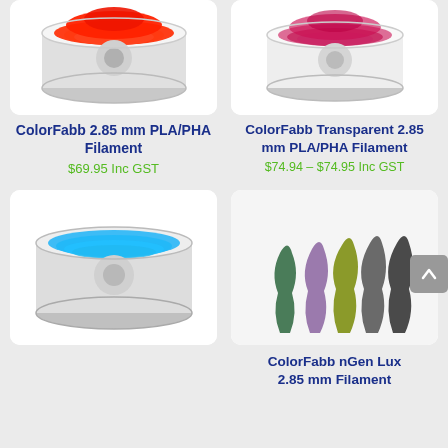[Figure (photo): Red filament spool for ColorFabb 2.85mm PLA/PHA Filament]
[Figure (photo): Transparent pink/magenta filament spool for ColorFabb Transparent 2.85mm PLA/PHA Filament]
ColorFabb 2.85 mm PLA/PHA Filament
$69.95 Inc GST
ColorFabb Transparent 2.85 mm PLA/PHA Filament
$74.94 – $74.95 Inc GST
[Figure (photo): Blue filament spool]
[Figure (photo): Multiple colorful vase prints in green, purple, olive, and gray]
ColorFabb nGen Lux 2.85 mm Filament